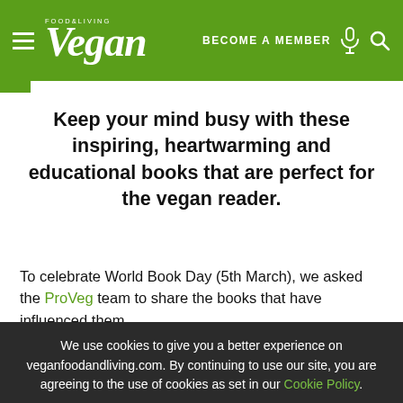Vegan Food & Living — BECOME A MEMBER
Keep your mind busy with these inspiring, heartwarming and educational books that are perfect for the vegan reader.
To celebrate World Book Day (5th March), we asked the ProVeg team to share the books that have influenced them.
We use cookies to give you a better experience on veganfoodandliving.com. By continuing to use our site, you are agreeing to the use of cookies as set in our Cookie Policy.
OK, got it